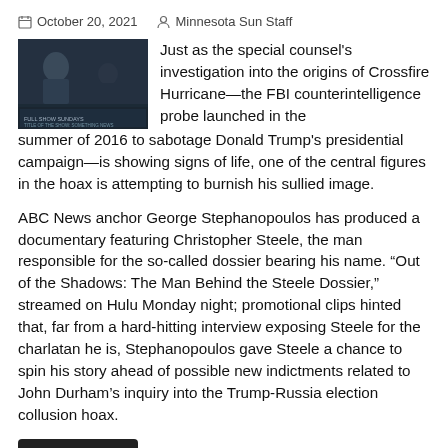October 20, 2021   Minnesota Sun Staff
[Figure (photo): TV screenshot showing a man being interviewed on a news program, dark background with news chyron text at bottom]
Just as the special counsel's investigation into the origins of Crossfire Hurricane—the FBI counterintelligence probe launched in the summer of 2016 to sabotage Donald Trump's presidential campaign—is showing signs of life, one of the central figures in the hoax is attempting to burnish his sullied image.
ABC News anchor George Stephanopoulos has produced a documentary featuring Christopher Steele, the man responsible for the so-called dossier bearing his name. “Out of the Shadows: The Man Behind the Steele Dossier,” streamed on Hulu Monday night; promotional clips hinted that, far from a hard-hitting interview exposing Steele for the charlatan he is, Stephanopoulos gave Steele a chance to spin his story ahead of possible new indictments related to John Durham’s inquiry into the Trump-Russia election collusion hoax.
READ MORE